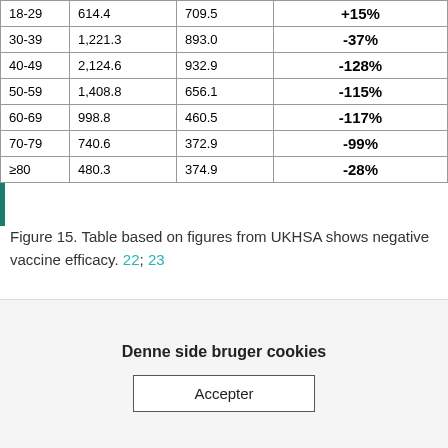| Age |  |  | Efficacy |
| --- | --- | --- | --- |
| 18-29 | 614.4 | 709.5 | +15% |
| 30-39 | 1,221.3 | 893.0 | -37% |
| 40-49 | 2,124.6 | 932.9 | -128% |
| 50-59 | 1,408.8 | 656.1 | -115% |
| 60-69 | 998.8 | 460.5 | -117% |
| 70-79 | 740.6 | 372.9 | -99% |
| ≥80 | 480.3 | 374.9 | -28% |
Figure 15. Table based on figures from UKHSA shows negative vaccine efficacy. 22; 23
The vaccine efficacy figures are calculated somewhat similarly to those used by Pfizer to announce a 95% efficacy (against non-specific symptoms) of their injection after the short phase 3
Denne side bruger cookies
Accepter